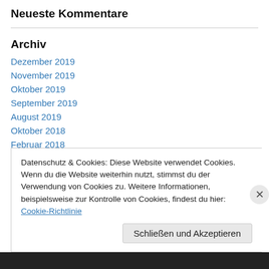Neueste Kommentare
Archiv
Dezember 2019
November 2019
Oktober 2019
September 2019
August 2019
Oktober 2018
Februar 2018
Januar 2015
Datenschutz & Cookies: Diese Website verwendet Cookies. Wenn du die Website weiterhin nutzt, stimmst du der Verwendung von Cookies zu. Weitere Informationen, beispielsweise zur Kontrolle von Cookies, findest du hier: Cookie-Richtlinie
Schließen und Akzeptieren